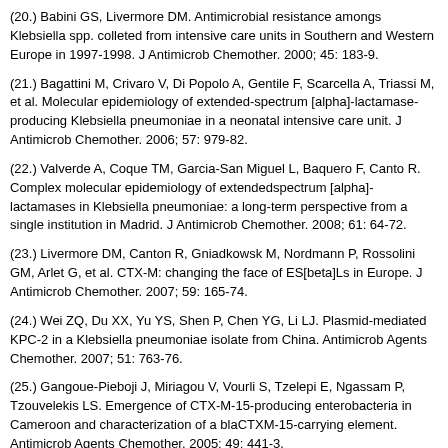(20.) Babini GS, Livermore DM. Antimicrobial resistance amongs Klebsiella spp. colleted from intensive care units in Southern and Western Europe in 1997-1998. J Antimicrob Chemother. 2000; 45: 183-9.
(21.) Bagattini M, Crivaro V, Di Popolo A, Gentile F, Scarcella A, Triassi M, et al. Molecular epidemiology of extended-spectrum [alpha]-lactamase-producing Klebsiella pneumoniae in a neonatal intensive care unit. J Antimicrob Chemother. 2006; 57: 979-82.
(22.) Valverde A, Coque TM, Garcia-San Miguel L, Baquero F, Canto R. Complex molecular epidemiology of extendedspectrum [alpha]-lactamases in Klebsiella pneumoniae: a long-term perspective from a single institution in Madrid. J Antimicrob Chemother. 2008; 61: 64-72.
(23.) Livermore DM, Canton R, Gniadkowsk M, Nordmann P, Rossolini GM, Arlet G, et al. CTX-M: changing the face of ES[beta]Ls in Europe. J Antimicrob Chemother. 2007; 59: 165-74.
(24.) Wei ZQ, Du XX, Yu YS, Shen P, Chen YG, Li LJ. Plasmid-mediated KPC-2 in a Klebsiella pneumoniae isolate from China. Antimicrob Agents Chemother. 2007; 51: 763-76.
(25.) Gangoue-Pieboji J, Miriagou V, Vourli S, Tzelepi E, Ngassam P, Tzouvelekis LS. Emergence of CTX-M-15-producing enterobacteria in Cameroon and characterization of a blaCTXM-15-carrying element. Antimicrob Agents Chemother. 2005; 49: 441-3.
(26.) Kitchel B, Rasheed K, Patel JB, Srinivasan A, Navon-Venezia S, Carmeli Y, et al. Molecular epidemiology of KPC-producing Klebsiella